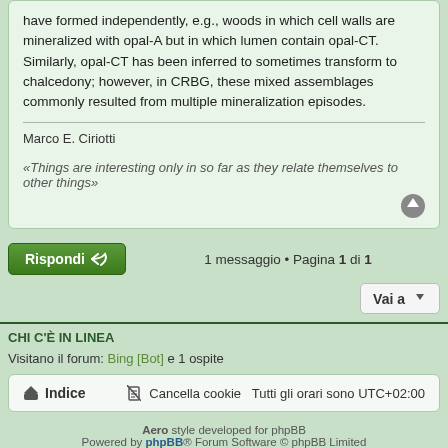have formed independently, e.g., woods in which cell walls are mineralized with opal-A but in which lumen contain opal-CT. Similarly, opal-CT has been inferred to sometimes transform to chalcedony; however, in CRBG, these mixed assemblages commonly resulted from multiple mineralization episodes.
Marco E. Ciriotti
«Things are interesting only in so far as they relate themselves to other things»
Rispondi
1 messaggio • Pagina 1 di 1
Vai a
CHI C'È IN LINEA
Visitano il forum: Bing [Bot] e 1 ospite
Indice    Cancella cookie   Tutti gli orari sono UTC+02:00
Aero style developed for phpBB
Powered by phpBB® Forum Software © phpBB Limited
Traduzione Italiana phpBB-Store.it